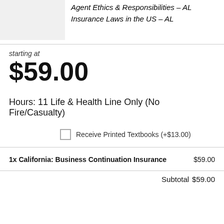Agent Ethics & Responsibilities – AL
Insurance Laws in the US – AL
starting at
$59.00
Hours: 11 Life & Health Line Only (No Fire/Casualty)
Receive Printed Textbooks (+$13.00)
1x California: Business Continuation Insurance   $59.00
Subtotal $59.00